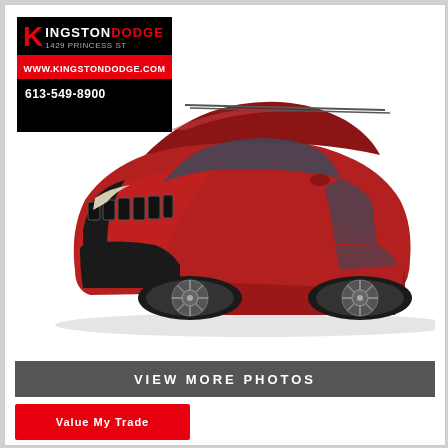[Figure (logo): Kingston Dodge dealership logo with red K, address 1429 Princess St, website www.kingstondodge.com, phone 613-549-8900]
[Figure (photo): Red Jeep Compass SUV shown in a 3/4 front view on white background, featuring dark alloy wheels and chrome grille]
VIEW MORE PHOTOS
Value My Trade